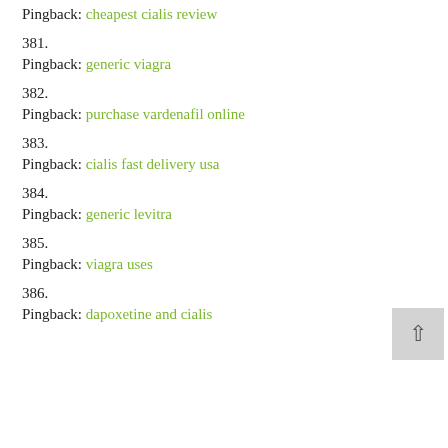Pingback: cheapest cialis review
381.
Pingback: generic viagra
382.
Pingback: purchase vardenafil online
383.
Pingback: cialis fast delivery usa
384.
Pingback: generic levitra
385.
Pingback: viagra uses
386.
Pingback: dapoxetine and cialis